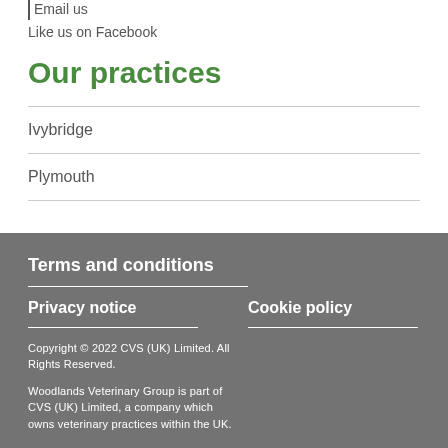|Email us
Like us on Facebook
Our practices
Ivybridge
Plymouth
Terms and conditions
Privacy notice
Cookie policy
Copyright © 2022 CVS (UK) Limited. All Rights Reserved.
Woodlands Veterinary Group is part of CVS (UK) Limited, a company which owns veterinary practices within the UK.